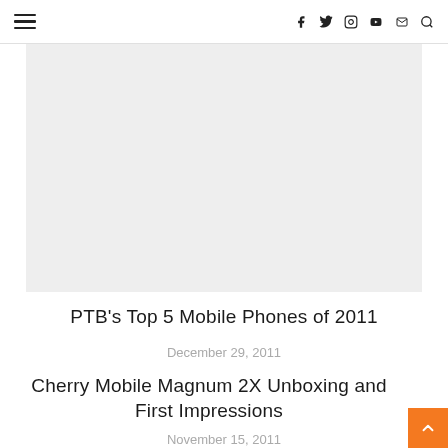≡  f  Twitter  Instagram  YouTube  Mail  Search
[Figure (photo): Light gray placeholder image box]
PTB's Top 5 Mobile Phones of 2011
December 29, 2011
Cherry Mobile Magnum 2X Unboxing and First Impressions
November 15, 2011